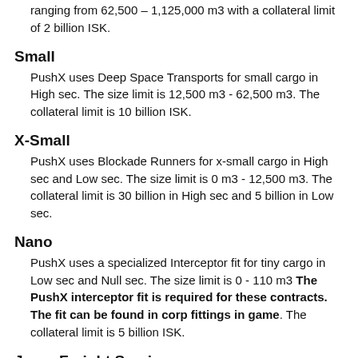ranging from 62,500 – 1,125,000 m3 with a collateral limit of 2 billion ISK.
Small
PushX uses Deep Space Transports for small cargo in High sec. The size limit is 12,500 m3 - 62,500 m3. The collateral limit is 10 billion ISK.
X-Small
PushX uses Blockade Runners for x-small cargo in High sec and Low sec. The size limit is 0 m3 - 12,500 m3. The collateral limit is 30 billion in High sec and 5 billion in Low sec.
Nano
PushX uses a specialized Interceptor fit for tiny cargo in Low sec and Null sec. The size limit is 0 - 110 m3 The PushX interceptor fit is required for these contracts. The fit can be found in corp fittings in game. The collateral limit is 5 billion ISK.
Jump Freight Service